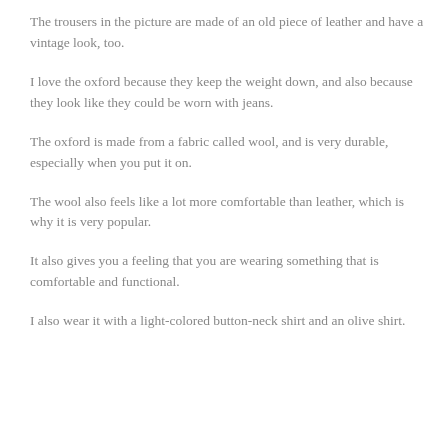The trousers in the picture are made of an old piece of leather and have a vintage look, too.
I love the oxford because they keep the weight down, and also because they look like they could be worn with jeans.
The oxford is made from a fabric called wool, and is very durable, especially when you put it on.
The wool also feels like a lot more comfortable than leather, which is why it is very popular.
It also gives you a feeling that you are wearing something that is comfortable and functional.
I also wear it with a light-colored button-neck shirt and an olive shirt.